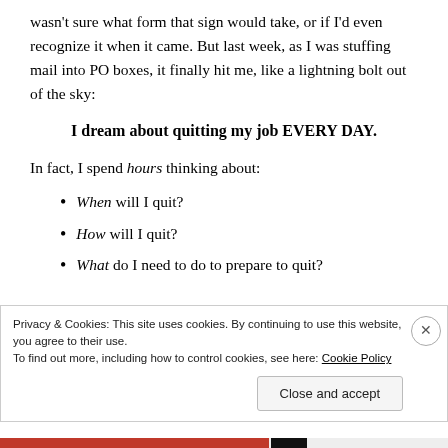wasn't sure what form that sign would take, or if I'd even recognize it when it came. But last week, as I was stuffing mail into PO boxes, it finally hit me, like a lightning bolt out of the sky:
I dream about quitting my job EVERY DAY.
In fact, I spend hours thinking about:
When will I quit?
How will I quit?
What do I need to do to prepare to quit?
Privacy & Cookies: This site uses cookies. By continuing to use this website, you agree to their use. To find out more, including how to control cookies, see here: Cookie Policy
Close and accept